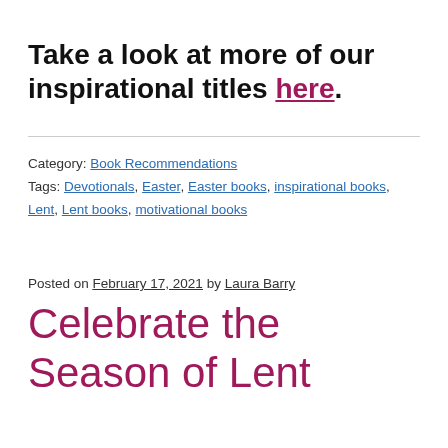Take a look at more of our inspirational titles here.
Category: Book Recommendations
Tags: Devotionals, Easter, Easter books, inspirational books, Lent, Lent books, motivational books
Posted on February 17, 2021 by Laura Barry
Celebrate the Season of Lent